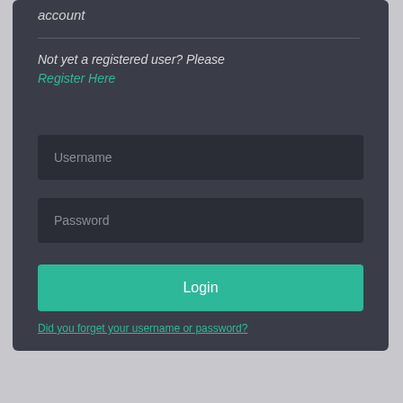account
Not yet a registered user? Please
Register Here
[Figure (screenshot): Username input field with placeholder text 'Username' on dark background]
[Figure (screenshot): Password input field with placeholder text 'Password' on dark background]
Login
Did you forget your username or password?